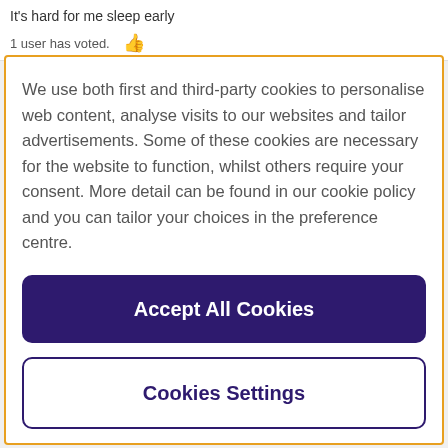It's hard for me sleep early
1 user has voted. 👍
We use both first and third-party cookies to personalise web content, analyse visits to our websites and tailor advertisements. Some of these cookies are necessary for the website to function, whilst others require your consent. More detail can be found in our cookie policy and you can tailor your choices in the preference centre.
Accept All Cookies
Cookies Settings